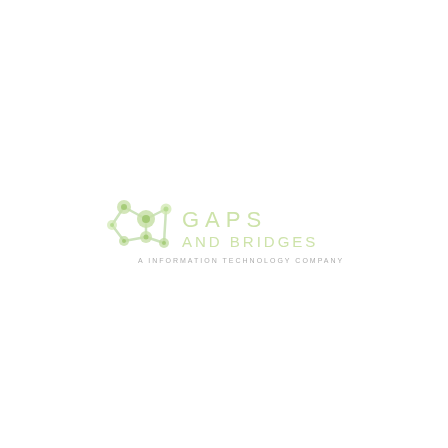[Figure (logo): Gaps and Bridges logo — a green molecular/network icon on the left with interconnected nodes and circles, followed by the text 'GAPS AND BRIDGES' in large spaced light green letters, and below it 'A INFORMATION TECHNOLOGY COMPANY' in small grey spaced capitals.]